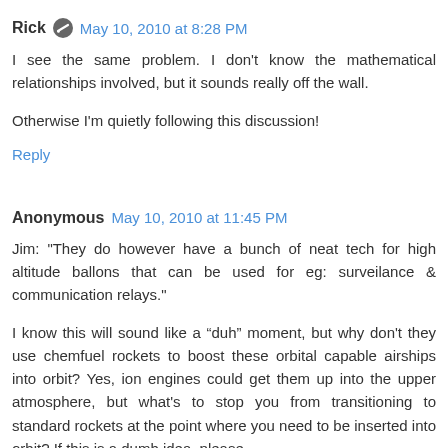Rick  May 10, 2010 at 8:28 PM
I see the same problem. I don't know the mathematical relationships involved, but it sounds really off the wall.

Otherwise I'm quietly following this discussion!
Reply
Anonymous  May 10, 2010 at 11:45 PM
Jim: "They do however have a bunch of neat tech for high altitude ballons that can be used for eg: surveilance & communication relays."

I know this will sound like a "duh" moment, but why don't they use chemfuel rockets to boost these orbital capable airships into orbit? Yes, ion engines could get them up into the upper atmosphere, but what's to stop you from transitioning to standard rockets at the point where you need to be inserted into orbit? If this is a dumb idea, please